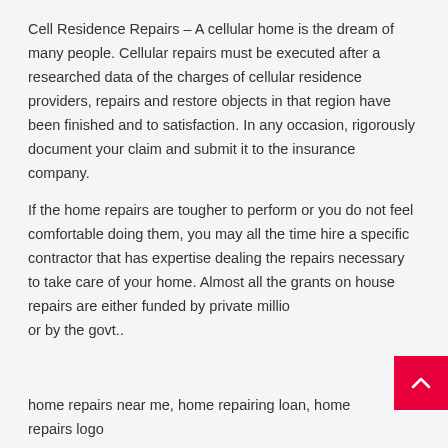Cell Residence Repairs – A cellular home is the dream of many people. Cellular repairs must be executed after a researched data of the charges of cellular residence providers, repairs and restore objects in that region have been finished and to satisfaction. In any occasion, rigorously document your claim and submit it to the insurance company.
If the home repairs are tougher to perform or you do not feel comfortable doing them, you may all the time hire a specific contractor that has expertise dealing the repairs necessary to take care of your home. Almost all the grants on house repairs are either funded by private millionaires or by the govt..
home repairs near me, home repairing loan, home repairs logo